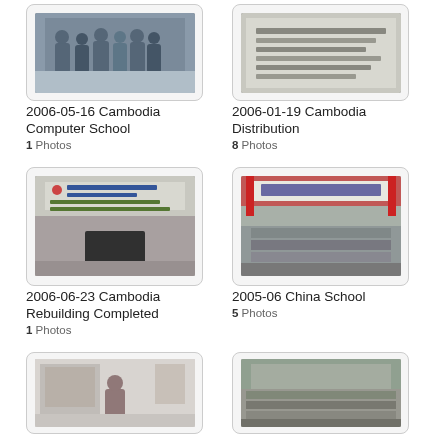[Figure (photo): Group photo of students/people - 2006-05-16 Cambodia Computer School thumbnail]
2006-05-16 Cambodia Computer School
1 Photos
[Figure (photo): Document/sign photo - 2006-01-19 Cambodia Distribution thumbnail]
2006-01-19 Cambodia Distribution
8 Photos
[Figure (photo): Simply Help Inc. building sign - 2006-06-23 Cambodia Rebuilding Completed thumbnail]
2006-06-23 Cambodia Rebuilding Completed
1 Photos
[Figure (photo): Large group of students in front of school building - 2005-06 China School thumbnail]
2005-06 China School
5 Photos
[Figure (photo): Classroom scene - bottom left album thumbnail]
[Figure (photo): Large group of students outdoors - bottom right album thumbnail]